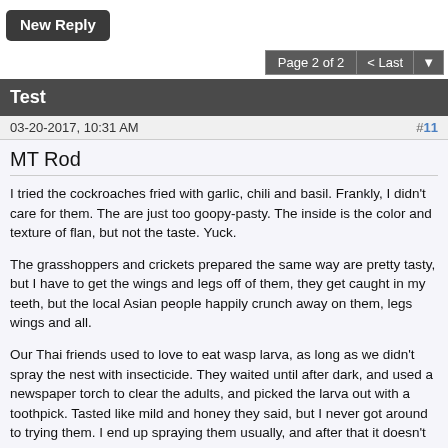New Reply
Page 2 of 2  < Last
Test
03-20-2017, 10:31 AM  #11
MT Rod
I tried the cockroaches fried with garlic, chili and basil. Frankly, I didn't care for them. The are just too goopy-pasty. The inside is the color and texture of flan, but not the taste. Yuck.
The grasshoppers and crickets prepared the same way are pretty tasty, but I have to get the wings and legs off of them, they get caught in my teeth, but the local Asian people happily crunch away on them, legs wings and all.
Our Thai friends used to love to eat wasp larva, as long as we didn't spray the nest with insecticide. They waited until after dark, and used a newspaper torch to clear the adults, and picked the larva out with a toothpick. Tasted like mild and honey they said, but I never got around to trying them. I end up spraying them usually, and after that it doesn't seem like such a good idea.
In Ecuador, we have a white, fat local grub about the size of your little finger, (well, my little finger), and it becomes a black beetle about an inch and a half long during the start of the rainy season. They are supposed to beatterned as if you are the are able to be at the at the